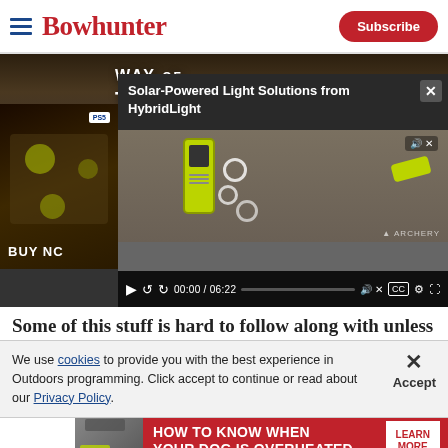Bowhunter | Subscribe
[Figure (screenshot): Website screenshot showing a Bowhunter magazine page with a video overlay titled 'Solar-Powered Light Solutions from HybridLight' (00:00 / 06:22), a 'Way of the Hunter' game advertisement banner, and video player controls]
Some of this stuff is hard to follow along with unless
We use cookies to provide you with the best experience in Outdoors programming. Click accept to continue or read about our Privacy Policy.
Advertisement
HOW TO KNOW WHEN YOUR DOG IS OVERHEATED | LEARN MORE